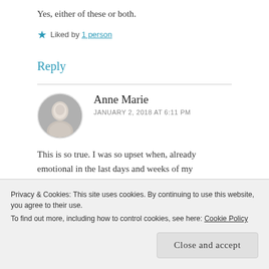Yes, either of these or both.
★ Liked by 1 person
Reply
Anne Marie
JANUARY 2, 2018 AT 6:11 PM
This is so true. I was so upset when, already emotional in the last days and weeks of my pregnancy with Flynn, both my neighbour and my
Privacy & Cookies: This site uses cookies. By continuing to use this website, you agree to their use.
To find out more, including how to control cookies, see here: Cookie Policy
Close and accept